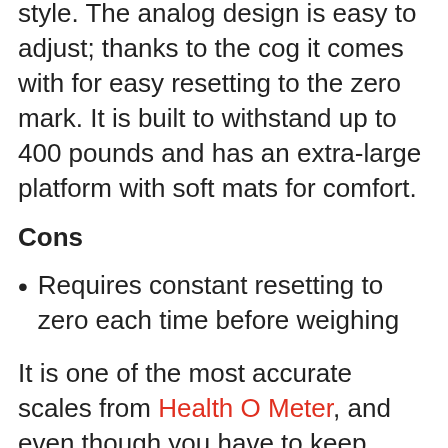enhanced with chrome accents to match any style. The analog design is easy to adjust; thanks to the cog it comes with for easy resetting to the zero mark. It is built to withstand up to 400 pounds and has an extra-large platform with soft mats for comfort.
Cons
Requires constant resetting to zero each time before weighing
It is one of the most accurate scales from Health O Meter, and even though you have to keep resetting, the process is super easy